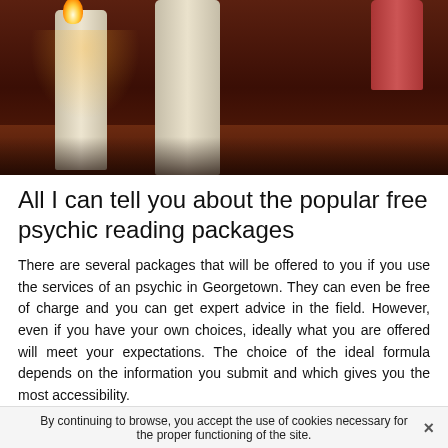[Figure (photo): Photo of white and red candles on a dark wooden surface with warm candlelight glow]
All I can tell you about the popular free psychic reading packages
There are several packages that will be offered to you if you use the services of an psychic in Georgetown. They can even be free of charge and you can get expert advice in the field. However, even if you have your own choices, ideally what you are offered will meet your expectations. The choice of the ideal formula depends on the information you submit and which gives you the most accessibility.
The free mail formula in Georgetown I
By continuing to browse, you accept the use of cookies necessary for the proper functioning of the site.